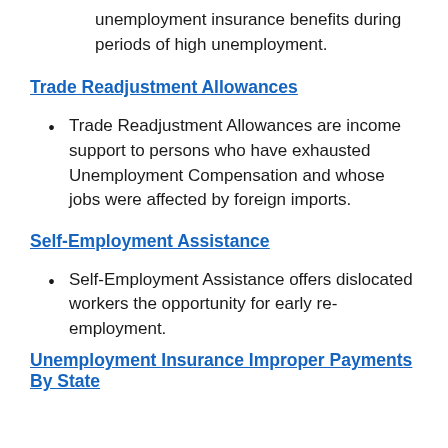unemployment insurance benefits during periods of high unemployment.
Trade Readjustment Allowances
Trade Readjustment Allowances are income support to persons who have exhausted Unemployment Compensation and whose jobs were affected by foreign imports.
Self-Employment Assistance
Self-Employment Assistance offers dislocated workers the opportunity for early re-employment.
Unemployment Insurance Improper Payments By State